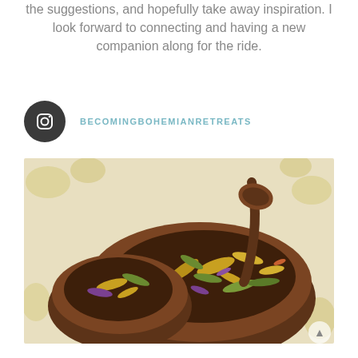the suggestions, and hopefully take away inspiration. I look forward to connecting and having a new companion along for the ride.
BECOMINGBOHEMIANRETREATS
[Figure (photo): A wooden bowl filled with a colorful dried herbal tea blend including yellow, purple, and green flowers and herbs, with a wooden spoon resting in the bowl, on a floral patterned background.]